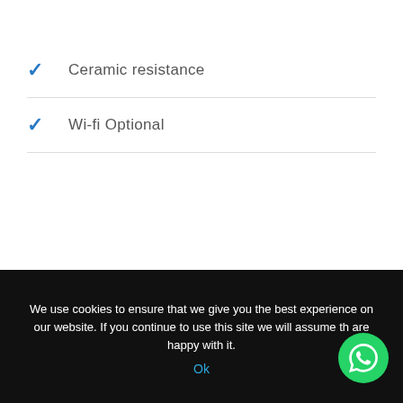✓ Ceramic resistance
✓ Wi-fi Optional
technical scheme
We use cookies to ensure that we give you the best experience on our website. If you continue to use this site we will assume that you are happy with it.
Ok